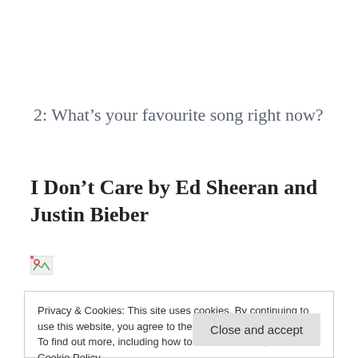2: What’s your favourite song right now?
I Don’t Care by Ed Sheeran and Justin Bieber
[Figure (other): Broken image placeholder icon]
Privacy & Cookies: This site uses cookies. By continuing to use this website, you agree to their use.
To find out more, including how to control cookies, see here: Cookie Policy
Close and accept